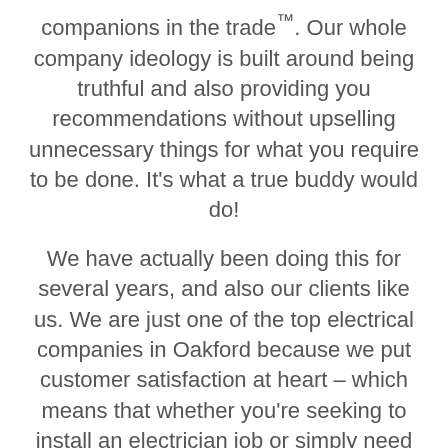companions in the trade™. Our whole company ideology is built around being truthful and also providing you recommendations without upselling unnecessary things for what you require to be done. It's what a true buddy would do!

We have actually been doing this for several years, and also our clients like us. We are just one of the top electrical companies in Oakford because we put customer satisfaction at heart – which means that whether you're seeking to install an electrician job or simply need recommendations on what type would be best suited for your residence's requirements, come see us!
[Figure (logo): Partial Google logo showing the blue 'G' arc and green bar at the bottom of the page]